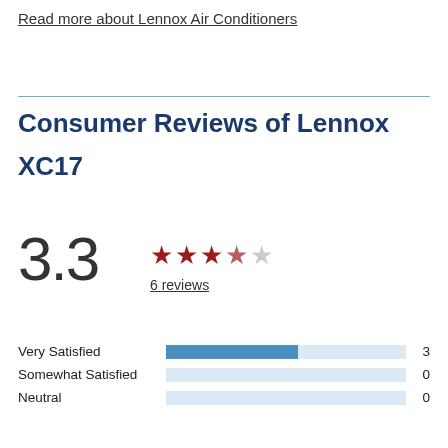Read more about Lennox Air Conditioners
Consumer Reviews of Lennox XC17
[Figure (infographic): Rating display showing 3.3 out of 5 with 3 filled dark red stars, 1 partial/empty star, 1 empty star, and '6 reviews' link below]
[Figure (bar-chart): Satisfaction ratings]